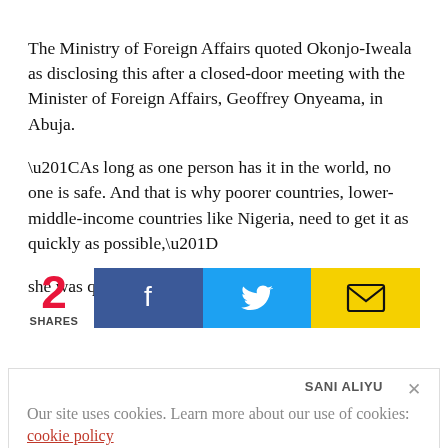The Ministry of Foreign Affairs quoted Okonjo-Iweala as disclosing this after a closed-door meeting with the Minister of Foreign Affairs, Geoffrey Onyeama, in Abuja.
“As long as one person has it in the world, no one is safe. And that is why poorer countries, lower-middle-income countries like Nigeria, need to get it as quickly as possible,”
she was quoted as saying.
[Figure (infographic): Social share bar showing 2 SHARES, with Facebook (blue), Twitter (cyan), and email (yellow) share buttons]
Our site uses cookies. Learn more about our use of cookies: cookie policy
I ACCEPT USE OF COOKIES
SANI ALIYU